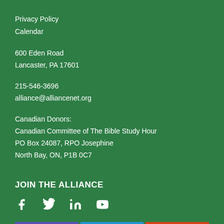Privacy Policy
Calendar
600 Eden Road
Lancaster, PA 17601
215-546-3696
alliance@alliancenet.org
Canadian Donors:
Canadian Committee of The Bible Study Hour
PO Box 24087, RPO Josephine
North Bay, ON, P1B 0C7
JOIN THE ALLIANCE
[Figure (infographic): Social media icons: Facebook, Twitter, LinkedIn, YouTube]
[Figure (infographic): Three buttons: Join (purple), Subscribe (blue), Support (orange-red)]